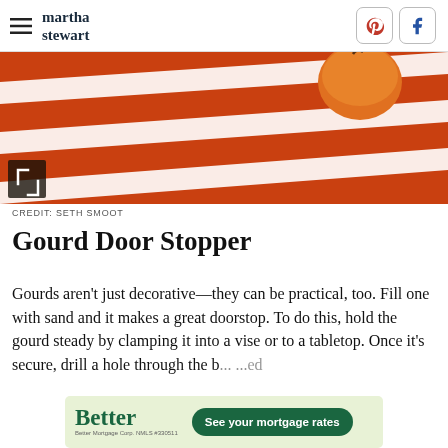martha stewart
[Figure (photo): Close-up photo of an orange and white striped rug/fabric with an apple or gourd resting on it. Photo credit: Seth Smoot.]
CREDIT: SETH SMOOT
Gourd Door Stopper
Gourds aren't just decorative—they can be practical, too. Fill one with sand and it makes a great doorstop. To do this, hold the gourd steady by clamping it into a vise or to a tabletop. Once it's secure, drill a hole through the b... ...ed
[Figure (screenshot): Better Mortgage advertisement banner with green background. Logo says 'Better' and button reads 'See your mortgage rates'. Small text: Better Mortgage Corp. NMLS #330511]